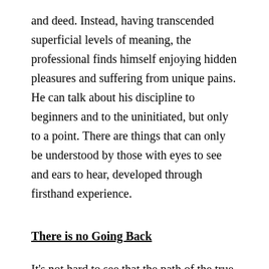and deed. Instead, having transcended superficial levels of meaning, the professional finds himself enjoying hidden pleasures and suffering from unique pains. He can talk about his discipline to beginners and to the uninitiated, but only to a point. There are things that can only be understood by those with eyes to see and ears to hear, developed through firsthand experience.
There is no Going Back
It's not hard to see that the path of the true professional, being extremely demanding and fraught with difficulties, is not for everyone, nor should it be. There is something to be said for the joys of a simple mundane life and the fun of dilettantism. Moreover, as you walk the path of